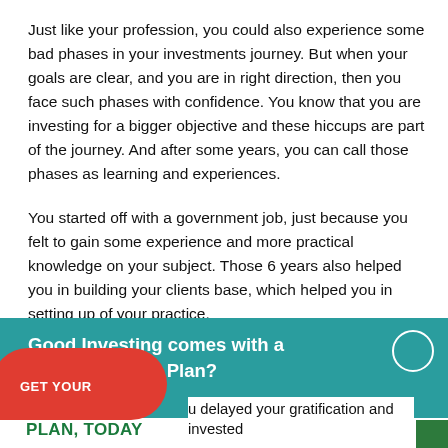Just like your profession, you could also experience some bad phases in your investments journey. But when your goals are clear, and you are in right direction, then you face such phases with confidence. You know that you are investing for a bigger objective and these hiccups are part of the journey. And after some years, you can call those phases as learning and experiences.
You started off with a government job, just because you felt to gain some experience and more practical knowledge on your subject. Those 6 years also helped you in building your clients base, which helped you in setting up of your practice.
[Figure (infographic): Teal banner overlay with text 'Good Investing comes with a Good Financial Plan?', a circular outline icon, a red rounded button area with 'GET YOUR' text partially visible, green 'PLAN, TODAY' text, and partial sentence 'u delayed your gratification and invested']